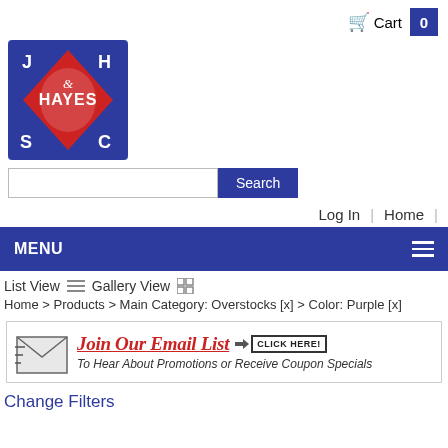Cart 0
[Figure (logo): J.H. Hayes S.M.C. company logo — navy blue square with red diamond, text HAYES in white]
Search
Log In | Home
MENU
List View Gallery View
Home > Products > Main Category: Overstocks [x] > Color: Purple [x]
[Figure (infographic): Join Our Email List banner with envelope icon and CLICK HERE button. Sub-text: To Hear About Promotions or Receive Coupon Specials]
Change Filters